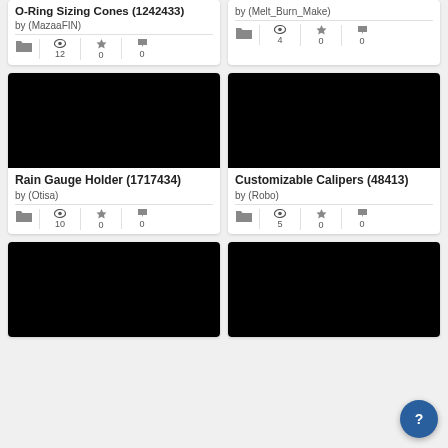O-Ring Sizing Cones (1242433)
by (MazaaFIN)
12 views, 0 likes, 0 comments
by (Melt_Burn_Make)
4 views, 0 likes, 0 comments
[Figure (screenshot): Black thumbnail with white Greek temple/building icon]
Rain Gauge Holder (1717434)
by (Otisa)
10 views, 0 likes, 0 comments
[Figure (screenshot): Black thumbnail with white Greek temple/building icon]
Customizable Calipers (48413)
by (Robo)
5 views, 0 likes, 0 comments
[Figure (screenshot): Black thumbnail with white Greek temple/building icon - partial]
[Figure (screenshot): Black thumbnail with white Greek temple/building icon - partial]